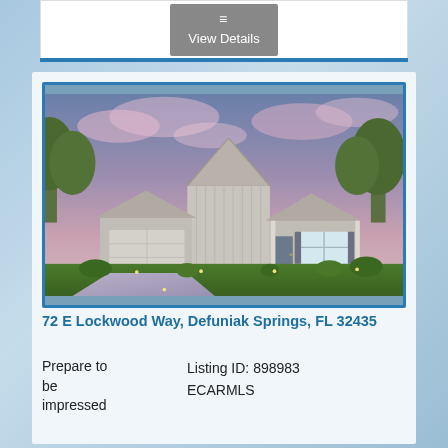[Figure (screenshot): View Details button with hamburger menu icon on white background]
[Figure (photo): Exterior rendering of a single-story ranch-style home with gray siding, two-car garage, front porch with windows, green landscaping, and a dramatic sunset sky with pink and purple clouds]
72 E Lockwood Way, Defuniak Springs, FL 32435
Prepare to be impressed
Listing ID: 898983
ECARMLS